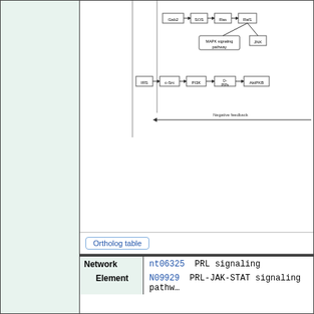[Figure (network-graph): Partial view of a signaling pathway diagram showing boxes labeled Gab2, SOS, Ras, Raf1, MAPK signaling pathway, JNK, IRS, c-Src, PI3K, D-PIPs, AktPKB, and an arrow labeled 'Negative feedback'.]
|  |  |
| --- | --- |
| Ortholog table |  |
| Network Element | nt06325   PRL signaling
N09929    PRL-JAK-STAT signaling pathway... |